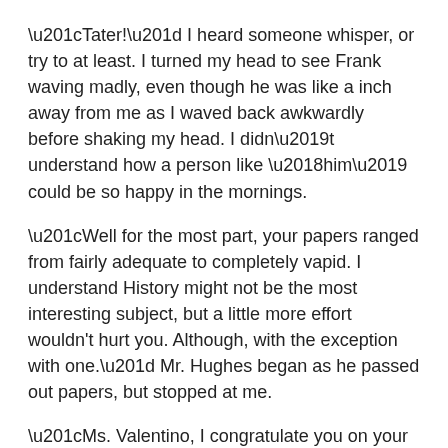“Tater!” I heard someone whisper, or try to at least. I turned my head to see Frank waving madly, even though he was like a inch away from me as I waved back awkwardly before shaking my head. I didn’t understand how a person like ‘him’ could be so happy in the mornings.
“Well for the most part, your papers ranged from fairly adequate to completely vapid. I understand History might not be the most interesting subject, but a little more effort wouldn't hurt you. Although, with the exception with one.” Mr. Hughes began as he passed out papers, but stopped at me.
“Ms. Valentino, I congratulate you on your grasp for European Politics.” he smiled at me as I took my paper.
“Thanks.” I mumbled with a slight smile.